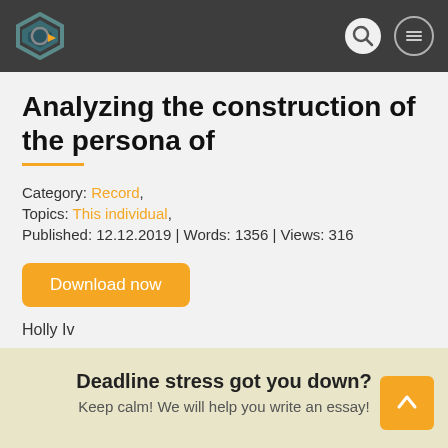Navigation header with logo, search, and menu icons
Analyzing the construction of the persona of
Category: Record,
Topics: This individual,
Published: 12.12.2019 | Words: 1356 | Views: 316
Download now
Holly Iv
Deadline stress got you down?
Keep calm! We will help you write an essay!